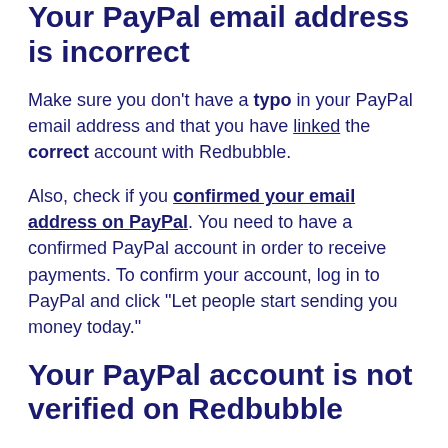Your PayPal email address is incorrect
Make sure you don't have a typo in your PayPal email address and that you have linked the correct account with Redbubble.
Also, check if you confirmed your email address on PayPal. You need to have a confirmed PayPal account in order to receive payments. To confirm your account, log in to PayPal and click "Let people start sending you money today."
Your PayPal account is not verified on Redbubble
Verifying your PayPal account is crucial in order to receive payments immediately. Make sure that you see “Deposit into my verified PayPal account” in